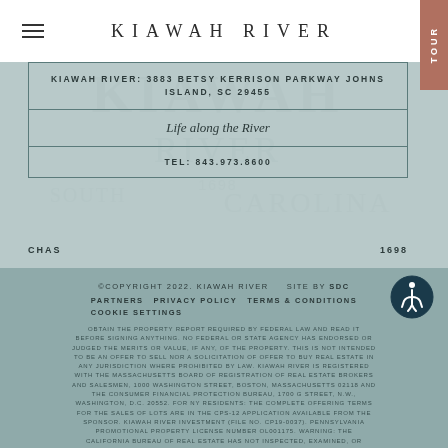KIAWAH RIVER
KIAWAH RIVER: 3883 BETSY KERRISON PARKWAY JOHNS ISLAND, SC 29455
Life along the River
TEL: 843.973.8600
CHAS   1698
©COPYRIGHT 2022. KIAWAH RIVER   SITE BY SDC   PARTNERS   PRIVACY POLICY   TERMS & CONDITIONS   COOKIE SETTINGS
OBTAIN THE PROPERTY REPORT REQUIRED BY FEDERAL LAW AND READ IT BEFORE SIGNING ANYTHING. NO FEDERAL OR STATE AGENCY HAS ENDORSED OR JUDGED THE MERITS OR VALUE, IF ANY, OF THE PROPERTY. THIS IS NOT INTENDED TO BE AN OFFER TO SELL NOR A SOLICITATION OF OFFER TO BUY REAL ESTATE IN ANY JURISDICTION WHERE PROHIBITED BY LAW. KIAWAH RIVER IS REGISTERED WITH THE MASSACHUSETTS BOARD OF REGISTRATION OF REAL ESTATE BROKERS AND SALESMEN, 1000 WASHINGTON STREET, BOSTON, MASSACHUSETTS 02118 AND THE CONSUMER FINANCIAL PROTECTION BUREAU, 1700 G STREET, N.W., WASHINGTON, D.C. 20552. FOR NY RESIDENTS: THE COMPLETE OFFERING TERMS FOR THE SALES OF LOTS ARE IN THE CPS-12 APPLICATION AVAILABLE FROM THE SPONSOR. KIAWAH RIVER INVESTMENT (FILE NO. CP19-0037). PENNSYLVANIA PROMOTIONAL PROPERTY LICENSE NUMBER OL001175. WARNING: THE CALIFORNIA BUREAU OF REAL ESTATE HAS NOT INSPECTED, EXAMINED, OR QUALIFIED THIS OFFERING.